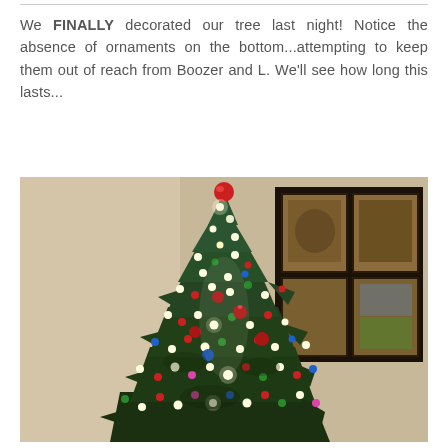We FINALLY decorated our tree last night!  Notice the absence of ornaments on the bottom...attempting to keep them out of reach from Boozer and L.  We'll see how long this lasts...
[Figure (photo): A decorated Christmas tree with colorful lights (red, green, blue, white, pink) and ornaments. The upper portion of the tree is heavily decorated while the lower branches are noticeably bare of ornaments. A dark-framed artwork or window with paintings is visible in the background on the right side. The photo is taken indoors against a beige/cream wall.]